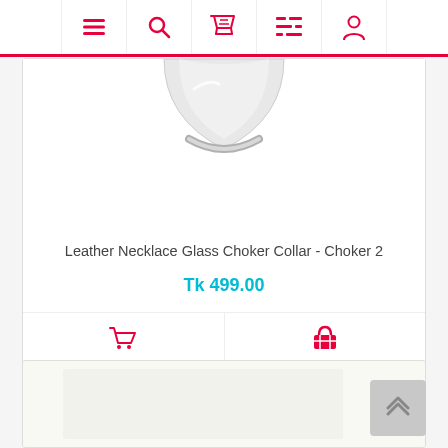Navigation bar with menu, search, cart, filter, and profile icons
[Figure (screenshot): Partial product image of a leather necklace glass choker collar showing a silver ring/clasp at the top against a white background]
Leather Necklace Glass Choker Collar - Choker 2
Tk 499.00
[Figure (screenshot): Bottom portion of second product card, mostly white with product image beginning to show]